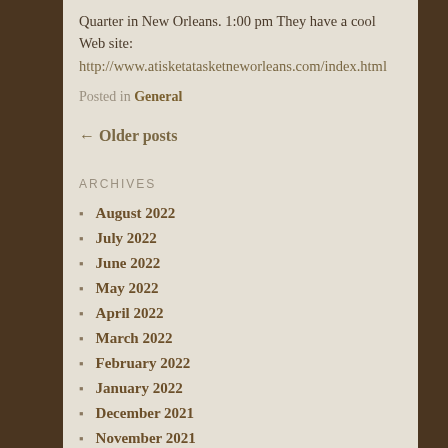Quarter in New Orleans. 1:00 pm They have a cool Web site: http://www.atisketatasketneworleans.com/index.html
Posted in General
← Older posts
ARCHIVES
August 2022
July 2022
June 2022
May 2022
April 2022
March 2022
February 2022
January 2022
December 2021
November 2021